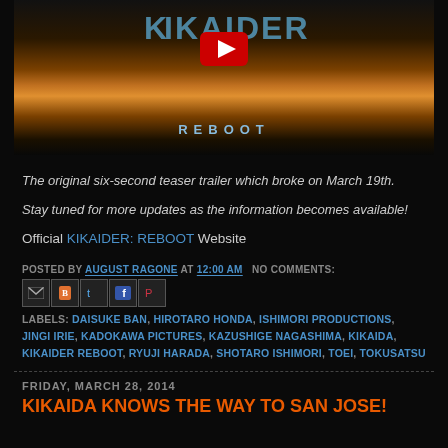[Figure (screenshot): Kikaider Reboot movie thumbnail/teaser image with glowing orange light, blue metallic logo text, YouTube play button, and 'REBOOT' text at bottom]
The original six-second teaser trailer which broke on March 19th.
Stay tuned for more updates as the information becomes available!
Official KIKAIDER: REBOOT Website
POSTED BY AUGUST RAGONE AT 12:00 AM   NO COMMENTS:
[Figure (infographic): Social share icons: Email, Blogger, Twitter, Facebook, Pinterest]
LABELS: DAISUKE BAN, HIROTARO HONDA, ISHIMORI PRODUCTIONS, JINGI IRIE, KADOKAWA PICTURES, KAZUSHIGE NAGASHIMA, KIKAIDA, KIKAIDER REBOOT, RYUJI HARADA, SHOTARO ISHIMORI, TOEI, TOKUSATSU
FRIDAY, MARCH 28, 2014
KIKAIDA KNOWS THE WAY TO SAN JOSE!